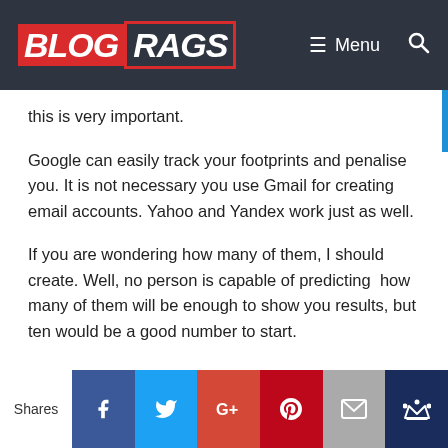BLOG RAGS — Menu
this is very important.
Google can easily track your footprints and penalise you. It is not necessary you use Gmail for creating email accounts. Yahoo and Yandex work just as well.
If you are wondering how many of them, I should create. Well, no person is capable of predicting how many of them will be enough to show you results, but ten would be a good number to start.